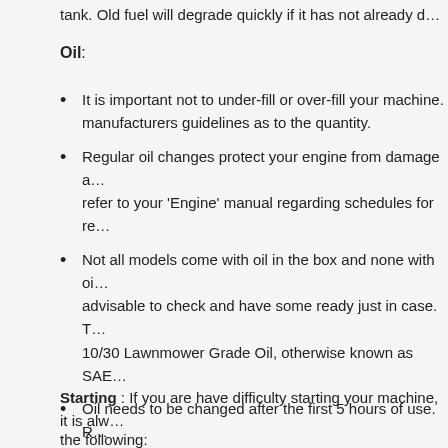tank. Old fuel will degrade quickly if it has not already d…
Oil:
It is important not to under-fill or over-fill your machine. manufacturers guidelines as to the quantity.
Regular oil changes protect your engine from damage a… refer to your 'Engine' manual regarding schedules for re…
Not all models come with oil in the box and none with oi… advisable to check and have some ready just in case. T… 10/30 Lawnmower Grade Oil, otherwise known as SAE…
Oil needs to be changed after the first 5 hours of use. R… machine can cause minute particles of metal debris in th… change and flush removes safely.
Starting : If you are have difficulty starting your machine, it is alw…
the following: